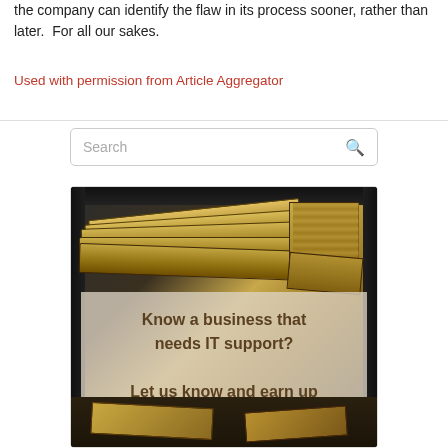the company can identify the flaw in its process sooner, rather than later.  For all our sakes.
Used with permission from Article Aggregator
[Figure (infographic): Advertisement banner with image of stacks of US dollar bills in a briefcase/case, overlaid with text: 'Know a business that needs IT support? Let us know and earn up to $25K!']